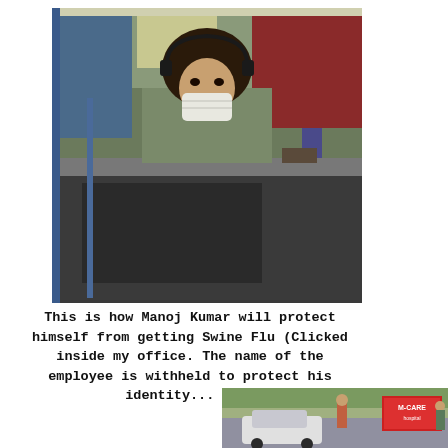[Figure (photo): A person sitting at an office cubicle wearing a face mask over their nose and mouth, with computer monitors and office furniture visible in the background. The office has red and blue walls.]
This is how Manoj Kumar will protect himself from getting Swine Flu (Clicked inside my office. The name of the employee is withheld to protect his identity... lol)
[Figure (photo): Partial view of an outdoor street scene with people and a sign that appears to read 'M-CARE'.]